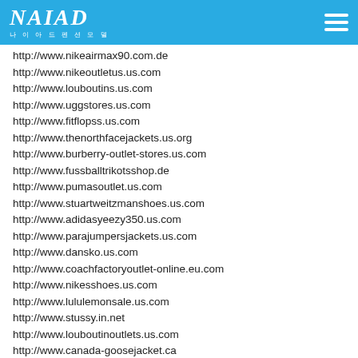NAIAD 나이아드펜션모델
http://www.nikeairmax90.com.de
http://www.nikeoutletus.us.com
http://www.louboutins.us.com
http://www.uggstores.us.com
http://www.fitflopss.us.com
http://www.thenorthfacejackets.us.org
http://www.burberry-outlet-stores.us.com
http://www.fussballtrikotsshop.de
http://www.pumasoutlet.us.com
http://www.stuartweitzmanshoes.us.com
http://www.adidasyeezy350.us.com
http://www.parajumpersjackets.us.com
http://www.dansko.us.com
http://www.coachfactoryoutlet-online.eu.com
http://www.nikesshoes.us.com
http://www.lululemonsale.us.com
http://www.stussy.in.net
http://www.louboutinoutlets.us.com
http://www.canada-goosejacket.ca
http://www.macmakeup.org.uk